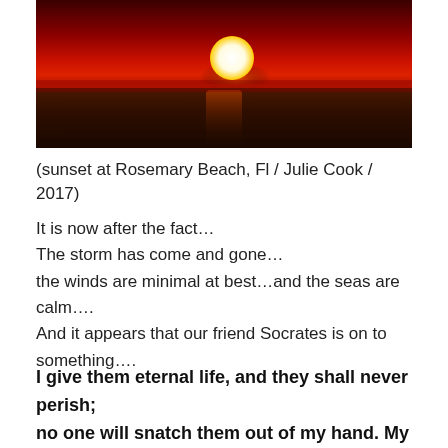[Figure (photo): Sunset over ocean at Rosemary Beach, FL — deep red sky with a bright white sun near the horizon reflecting on dark water]
(sunset at Rosemary Beach, Fl / Julie Cook / 2017)
It is now after the fact…
The storm has come and gone…
the winds are minimal at best…and the seas are calm….
And it appears that our friend Socrates is on to something….
I give them eternal life, and they shall never perish; no one will snatch them out of my hand. My Father, who has given them to me, is greater than all;